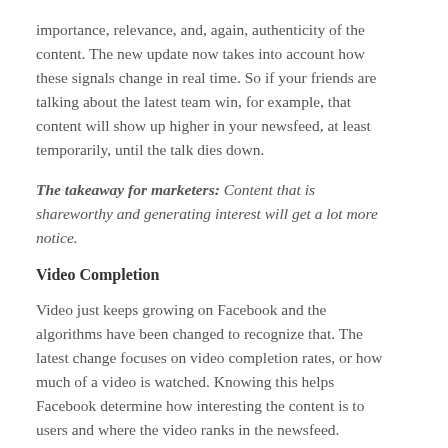importance, relevance, and, again, authenticity of the content. The new update now takes into account how these signals change in real time. So if your friends are talking about the latest team win, for example, that content will show up higher in your newsfeed, at least temporarily, until the talk dies down.
The takeaway for marketers: Content that is shareworthy and generating interest will get a lot more notice.
Video Completion
Video just keeps growing on Facebook and the algorithms have been changed to recognize that. The latest change focuses on video completion rates, or how much of a video is watched. Knowing this helps Facebook determine how interesting the content is to users and where the video ranks in the newsfeed. Facebook has used video completion rates in the past to rank content, but the old algorithm naturally